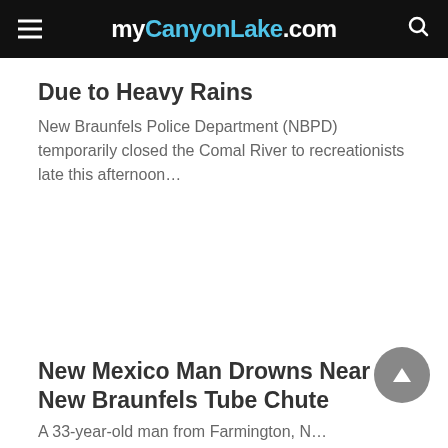myCanyonLake.com
Due to Heavy Rains
New Braunfels Police Department (NBPD) temporarily closed the Comal River to recreationists late this afternoon…
New Mexico Man Drowns Near New Braunfels Tube Chute
A 33-year-old man from Farmington, N...